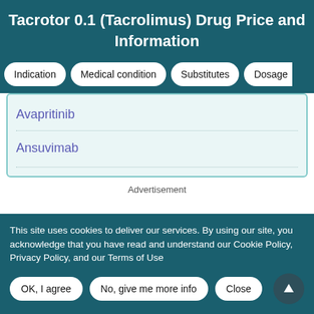Tacrotor 0.1 (Tacrolimus) Drug Price and Information
Indication
Medical condition
Substitutes
Dosage
Avapritinib
Ansuvimab
Advertisement
This site uses cookies to deliver our services. By using our site, you acknowledge that you have read and understand our Cookie Policy, Privacy Policy, and our Terms of Use
OK, I agree
No, give me more info
Close